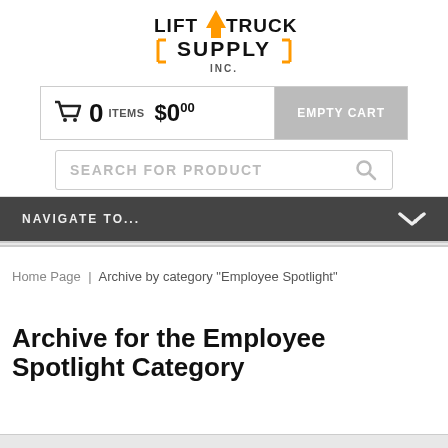[Figure (logo): Lift Truck Supply Inc. logo with orange upward arrow between the words LIFT and TRUCK, and SUPPLY INC. below with bracket underline]
[Figure (screenshot): Shopping cart bar showing 0 items, $0.00, and EMPTY CART button]
[Figure (screenshot): Search bar with placeholder text SEARCH FOR PRODUCT and magnifying glass icon]
[Figure (screenshot): Navigation dropdown bar with NAVIGATE TO... label and chevron]
Home Page | Archive by category "Employee Spotlight"
Archive for the Employee Spotlight Category